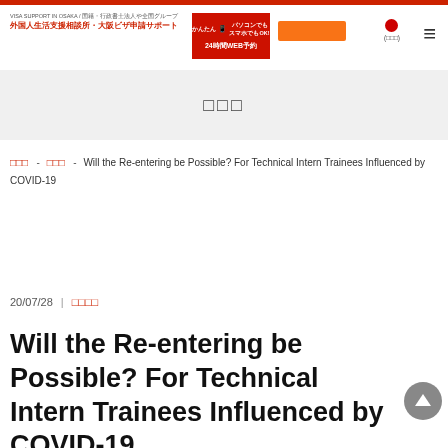VISA SUPPORT IN OSAKA / 国籍・行政書士法人や全国グループ 外国人生活支援相談所・大阪ビザ申請サポート | パソコンでもスマホでもOK! 24時間WEB予約
□□□
□□□ - □□□ - Will the Re-entering be Possible? For Technical Intern Trainees Influenced by COVID-19
20/07/28 | □□□□
Will the Re-entering be Possible? For Technical Intern Trainees Influenced by COVID-19